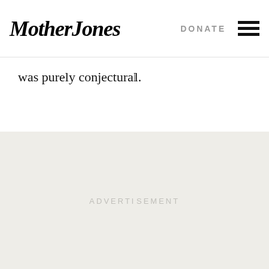Mother Jones | DONATE
was purely conjectural.
ADVERTISEMENT